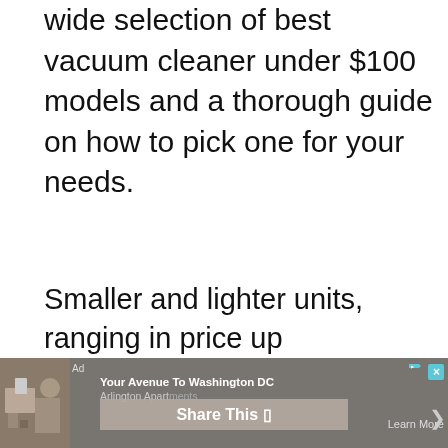wide selection of best vacuum cleaner under $100 models and a thorough guide on how to pick one for your needs.
Smaller and lighter units, ranging in price up
[Figure (screenshot): Advertisement banner at bottom: grey overlay with apartment photo on left, text 'Ad Your Avenue To Washington DC / Arlington Apartments', a 'Share This' button in center, 'Learn More' link on right, close and info icons top right]